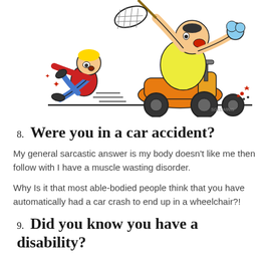[Figure (illustration): Cartoon illustration of a large person riding an orange mobility scooter holding a butterfly net, chasing a small blond child who is falling backward. Comic action lines and stars in the background. Artist signature 'SGELWINIS' at bottom right.]
8. Were you in a car accident?
My general sarcastic answer is my body doesn't like me then follow with I have a muscle wasting disorder.
Why Is it that most able-bodied people think that you have automatically had a car crash to end up in a wheelchair?!
9. Did you know you have a disability?